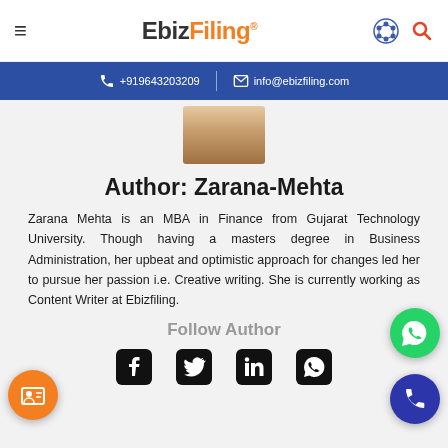EbizFiling
+919643203209 | info@ebizfiling.com
[Figure (photo): Profile photo of Zarana Mehta]
Author: Zarana-Mehta
Zarana Mehta is an MBA in Finance from Gujarat Technology University. Though having a masters degree in Business Administration, her upbeat and optimistic approach for changes led her to pursue her passion i.e. Creative writing. She is currently working as Content Writer at Ebizfiling.
Follow Author
[Figure (illustration): Social media icons: Facebook, Twitter, LinkedIn, WhatsApp]